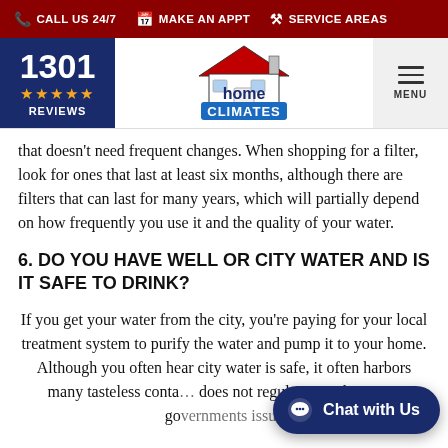CALL US 24/7  MAKE AN APPT  SERVICE AREAS
[Figure (logo): Home Climates logo with house icon and stylized text, plus 1301 reviews badge and menu button]
that doesn't need frequent changes. When shopping for a filter, look for ones that last at least six months, although there are filters that can last for many years, which will partially depend on how frequently you use it and the quality of your water.
6. DO YOU HAVE WELL OR CITY WATER AND IS IT SAFE TO DRINK?
If you get your water from the city, you're paying for your local treatment system to purify the water and pump it to your home. Although you often hear city water is safe, it often harbors many tasteless conta… does not regulate. Furthermore, governments issue